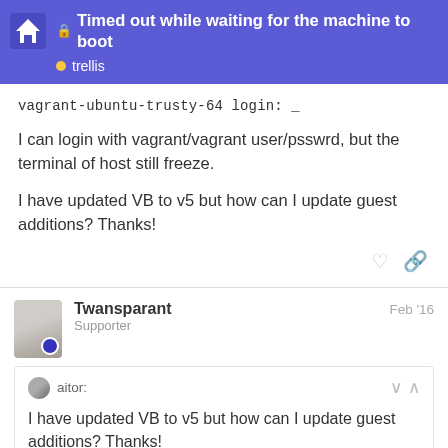Timed out while waiting for the machine to boot — trellis
vagrant-ubuntu-trusty-64 login: _
I can login with vagrant/vagrant user/psswrd, but the terminal of host still freeze.
I have updated VB to v5 but how can I update guest additions? Thanks!
Twansparant — Supporter — Feb '16
aitor:
I have updated VB to v5 but how can I update guest additions? Thanks!
12 / 17